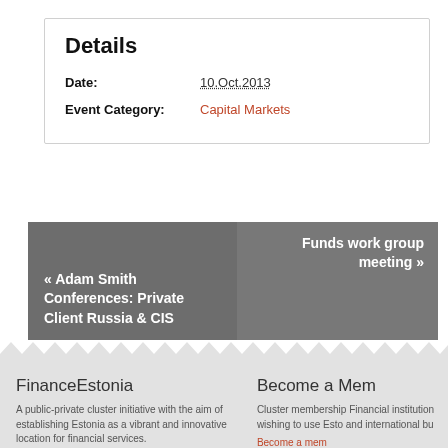Details
Date: 10.Oct.2013
Event Category: Capital Markets
« Adam Smith Conferences: Private Client Russia & CIS
Funds work group meeting »
FinanceEstonia
A public-private cluster initiative with the aim of establishing Estonia as a vibrant and innovative location for financial services.
Additional information about clusters in Estonia
Become a Mem
Cluster membership Financial institution wishing to use Esto and international bu
Become a mem